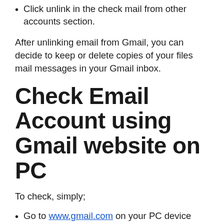Click unlink in the check mail from other accounts section.
After unlinking email from Gmail, you can decide to keep or delete copies of your files mail messages in your Gmail inbox.
Check Email Account using Gmail website on PC
To check, simply;
Go to www.gmail.com on your PC device Google chrome...